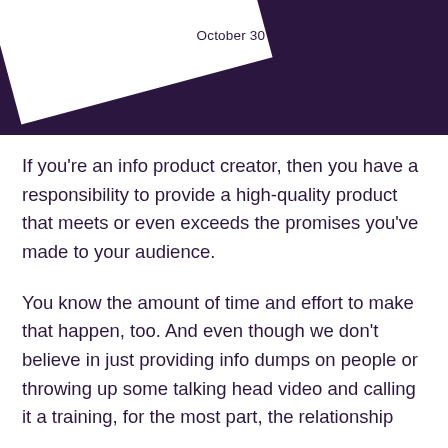[Figure (illustration): Dark purple banner header with a white diagonal card shape and the text 'October 30' visible]
If you're an info product creator, then you have a responsibility to provide a high-quality product that meets or even exceeds the promises you've made to your audience.
You know the amount of time and effort to make that happen, too. And even though we don't believe in just providing info dumps on people or throwing up some talking head video and calling it a training, for the most part, the relationship